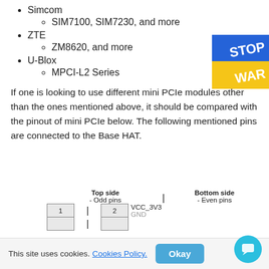Simcom
SIM7100, SIM7230, and more
ZTE
ZM8620, and more
U-Blox
MPCI-L2 Series
If one is looking to use different mini PCIe modules other than the ones mentioned above, it should be compared with the pinout of mini PCIe below. The following mentioned pins are connected to the Base HAT.
[Figure (table-as-image): Mini PCIe pinout table showing Top side (Odd pins) and Bottom side (Even pins), with pin 1 on top side and pin 2 (VCC_3V3) on bottom side]
This site uses cookies. Cookies Policy. Okay